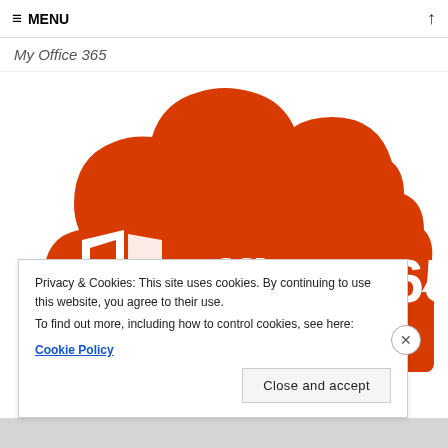≡ MENU
My Office 365
[Figure (logo): Microsoft Office 365 logo: white Office window icon and 'Office 365' text on an orange cloud shape]
Privacy & Cookies: This site uses cookies. By continuing to use this website, you agree to their use.
To find out more, including how to control cookies, see here:
Cookie Policy
Close and accept